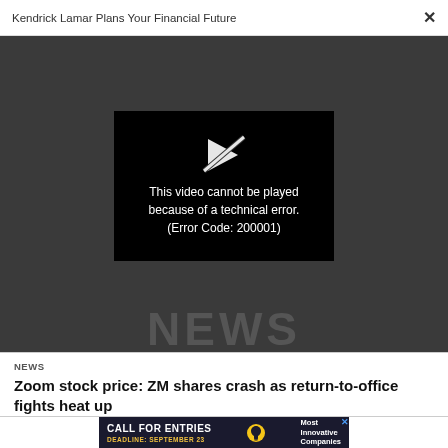Kendrick Lamar Plans Your Financial Future
[Figure (screenshot): Video player showing error message: This video cannot be played because of a technical error. (Error Code: 200001)]
NEWS
NEWS
Zoom stock price: ZM shares crash as return-to-office fights heat up
[Figure (infographic): Advertisement banner: CALL FOR ENTRIES, DEADLINE: SEPTEMBER 23, Most Innovative Companies]